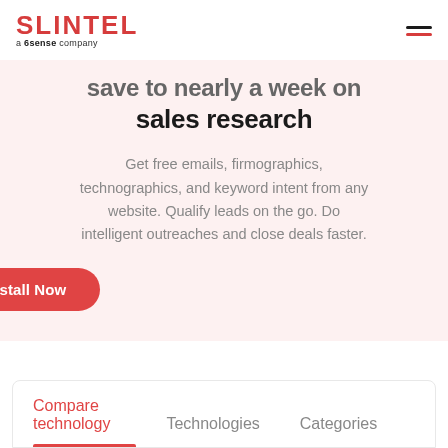SLINTEL a 6sense company
save to nearly a week on sales research
Get free emails, firmographics, technographics, and keyword intent from any website. Qualify leads on the go. Do intelligent outreaches and close deals faster.
Install Now
Compare technology | Technologies | Categories